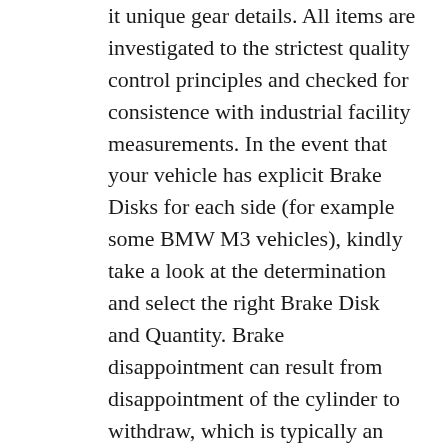it unique gear details. All items are investigated to the strictest quality control principles and checked for consistence with industrial facility measurements. In the event that your vehicle has explicit Brake Disks for each side (for example some BMW M3 vehicles), kindly take a look at the determination and select the right Brake Disk and Quantity. Brake disappointment can result from disappointment of the cylinder to withdraw, which is typically an outcome of not working the vehicle during delayed capacity outside in unfavorable conditions. On high-mileage vehicles, the cylinder seals might spill, which should be speedily amended.
Worn brake cushions not just give helpless halting execution, they can harm the brake